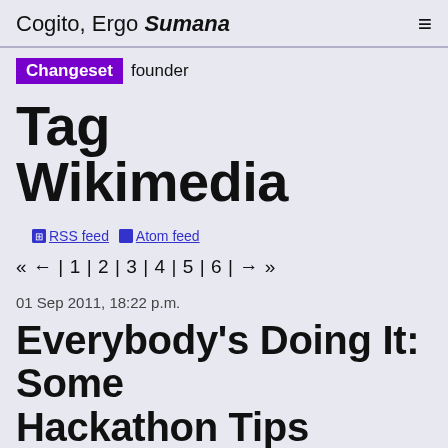Cogito, Ergo Sumana
Changeset founder
Tag Wikimedia
RSS feed  Atom feed
« ← | 1 | 2 | 3 | 4 | 5 | 6 | → »
01 Sep 2011, 18:22 p.m.
Everybody's Doing It: Some Hackathon Tips